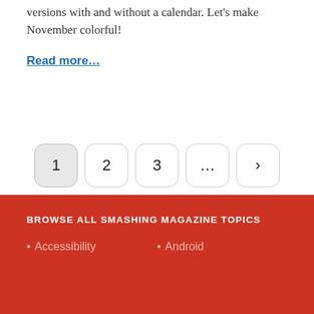versions with and without a calendar. Let's make November colorful!
Read more…
[Figure (other): Pagination navigation with buttons: 1 (active), 2, 3, ..., >]
BROWSE ALL SMASHING MAGAZINE TOPICS
• Accessibility
• Android